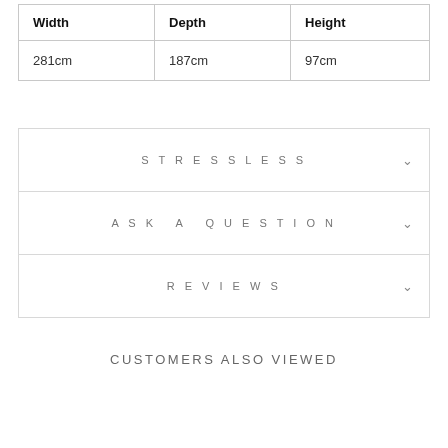| Width | Depth | Height |
| --- | --- | --- |
| 281cm | 187cm | 97cm |
STRESSLESS
ASK A QUESTION
REVIEWS
CUSTOMERS ALSO VIEWED